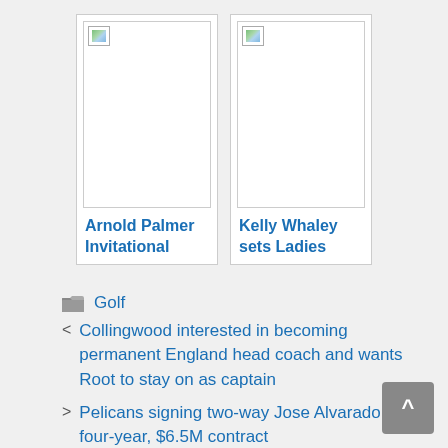[Figure (photo): Broken image placeholder for Arnold Palmer Invitational article]
Arnold Palmer Invitational
[Figure (photo): Broken image placeholder for Kelly Whaley sets Ladies article]
Kelly Whaley sets Ladies
Golf
Collingwood interested in becoming permanent England head coach and wants Root to stay on as captain
Pelicans signing two-way Jose Alvarado to four-year, $6.5M contract